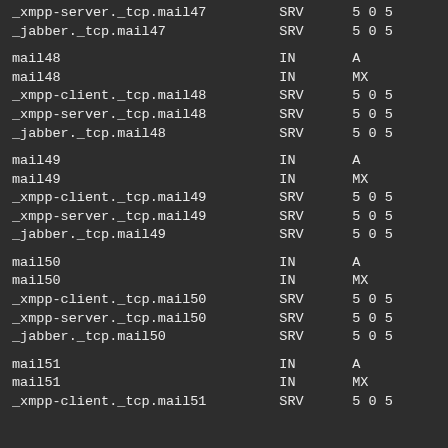_xmpp-server._tcp.mail47    SRV    5 0 5
_jabber._tcp.mail47         SRV    5 0 5
mail48                      IN     A
mail48                      IN     MX
_xmpp-client._tcp.mail48    SRV    5 0 5
_xmpp-server._tcp.mail48    SRV    5 0 5
_jabber._tcp.mail48         SRV    5 0 5
mail49                      IN     A
mail49                      IN     MX
_xmpp-client._tcp.mail49    SRV    5 0 5
_xmpp-server._tcp.mail49    SRV    5 0 5
_jabber._tcp.mail49         SRV    5 0 5
mail50                      IN     A
mail50                      IN     MX
_xmpp-client._tcp.mail50    SRV    5 0 5
_xmpp-server._tcp.mail50    SRV    5 0 5
_jabber._tcp.mail50         SRV    5 0 5
mail51                      IN     A
mail51                      IN     MX
_xmpp-client._tcp.mail51    SRV    5 0 5